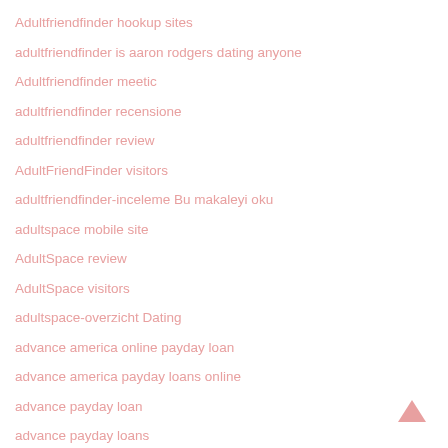Adultfriendfinder hookup sites
adultfriendfinder is aaron rodgers dating anyone
Adultfriendfinder meetic
adultfriendfinder recensione
adultfriendfinder review
AdultFriendFinder visitors
adultfriendfinder-inceleme Bu makaleyi oku
adultspace mobile site
AdultSpace review
AdultSpace visitors
adultspace-overzicht Dating
advance america online payday loan
advance america payday loans online
advance payday loan
advance payday loans